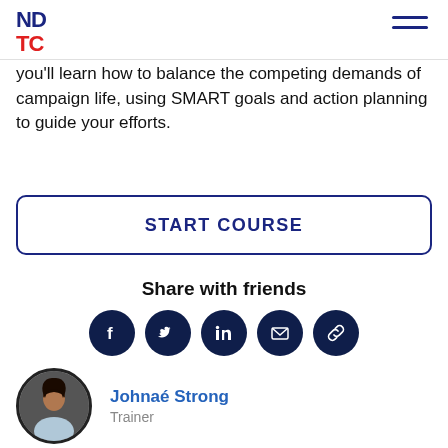NDTC
you'll learn how to balance the competing demands of campaign life, using SMART goals and action planning to guide your efforts.
START COURSE
Share with friends
[Figure (infographic): Five circular dark navy social share icons: Facebook, Twitter, LinkedIn, Email, Link]
Johnaé Strong
Trainer
[Figure (photo): Circular portrait photo of Johnaé Strong, a woman with long braids, smiling, wearing a light blue top, against a dark background.]